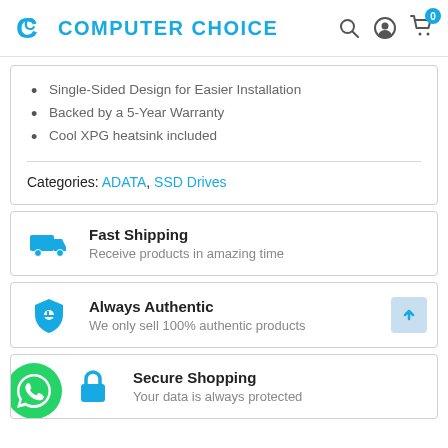COMPUTER CHOICE
Single-Sided Design for Easier Installation
Backed by a 5-Year Warranty
Cool XPG heatsink included
Categories: ADATA, SSD Drives
Fast Shipping — Receive products in amazing time
Always Authentic — We only sell 100% authentic products
Secure Shopping — Your data is always protected